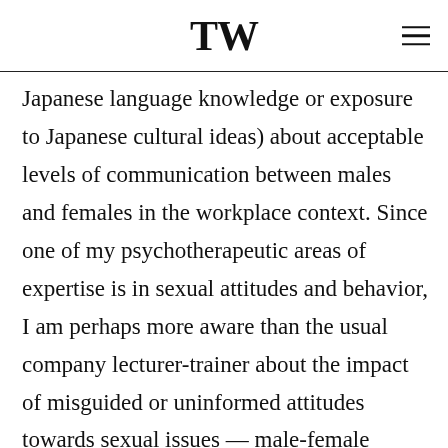TW
Japanese language knowledge or exposure to Japanese cultural ideas) about acceptable levels of communication between males and females in the workplace context. Since one of my psychotherapeutic areas of expertise is in sexual attitudes and behavior, I am perhaps more aware than the usual company lecturer-trainer about the impact of misguided or uninformed attitudes towards sexual issues — male-female communication, homophobia, sexual life style orientation — can have on the company